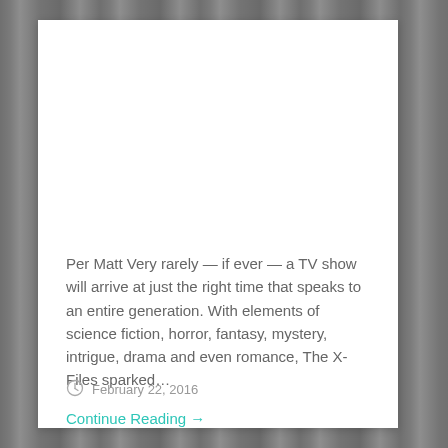Per Matt Very rarely — if ever — a TV show will arrive at just the right time that speaks to an entire generation. With elements of science fiction, horror, fantasy, mystery, intrigue, drama and even romance, The X-Files sparked…
Continue Reading →
February 22, 2016